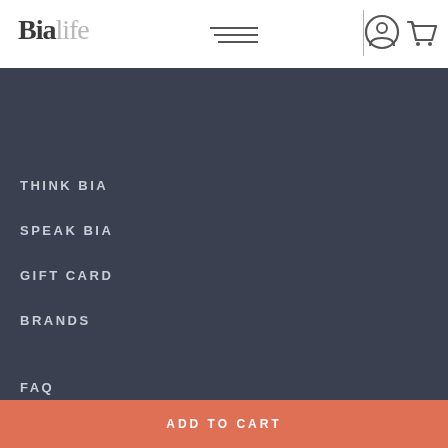Bialife
THINK BIA
SPEAK BIA
GIFT CARD
BRANDS
FAQ
ADD TO CART